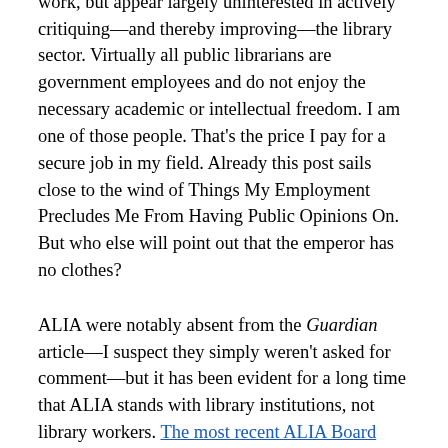academics would be well-placed for this kind of work, but appear largely uninterested in actively critiquing—and thereby improving—the library sector. Virtually all public librarians are government employees and do not enjoy the necessary academic or intellectual freedom. I am one of those people. That's the price I pay for a secure job in my field. Already this post sails close to the wind of Things My Employment Precludes Me From Having Public Opinions On. But who else will point out that the emperor has no clothes?
ALIA were notably absent from the Guardian article—I suspect they simply weren't asked for comment—but it has been evident for a long time that ALIA stands with library institutions, not library workers. The most recent ALIA Board message of Friday 24 April only confirms it: sympathy is shown for library managers having to stand down staff, but not for the staff themselves, despite ALIA's considerable investment in a relief fund. Readers